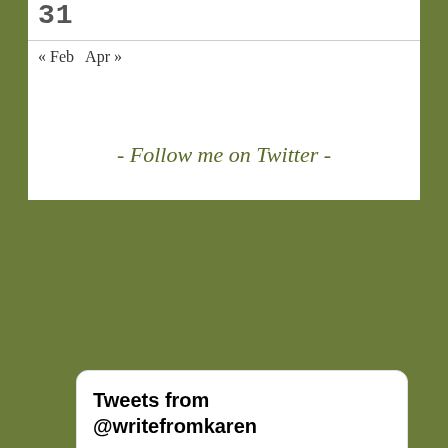31
« Feb  Apr »
- Follow me on Twitter -
[Figure (screenshot): Embedded Twitter widget showing tweets from @writefromkaren. Header reads 'Tweets from @writefromkaren'. Below is a tweet by Write Fro... (@...) dated Sep 4 reading 'The Line Has Been Drawn – Now What?' with link writefromkaren.com/2022/09/04/the... and a partial image showing text 'Sometimes you just have to draw a line']